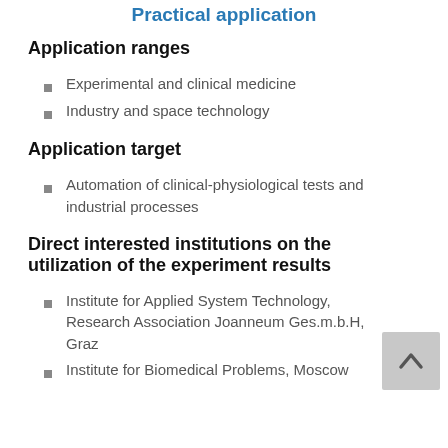Practical application
Application ranges
Experimental and clinical medicine
Industry and space technology
Application target
Automation of clinical-physiological tests and industrial processes
Direct interested institutions on the utilization of the experiment results
Institute for Applied System Technology, Research Association Joanneum Ges.m.b.H, Graz
Institute for Biomedical Problems, Moscow